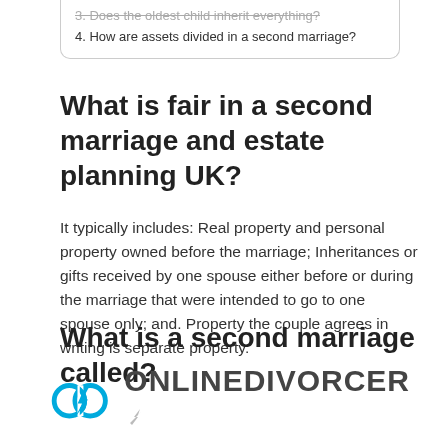3. Does the oldest child inherit everything?
4. How are assets divided in a second marriage?
What is fair in a second marriage and estate planning UK?
It typically includes: Real property and personal property owned before the marriage; Inheritances or gifts received by one spouse either before or during the marriage that were intended to go to one spouse only; and. Property the couple agrees in writing is separate property.
What is a second marriage called?
[Figure (logo): OnlineDivorcer logo with two interlocked rings and a lightning bolt, and the text ONLINEDIVORCER]